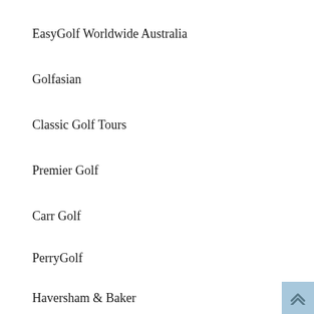EasyGolf Worldwide Australia
Golfasian
Classic Golf Tours
Premier Golf
Carr Golf
PerryGolf
Haversham & Baker
Emirates Holidays